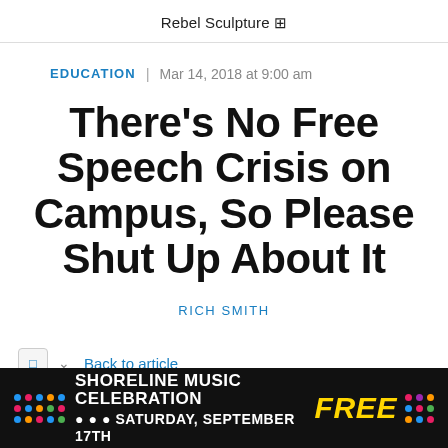Rebel Sculpture ⊞
EDUCATION | Mar 14, 2018 at 9:00 am
There's No Free Speech Crisis on Campus, So Please Shut Up About It
RICH SMITH
Back to article
[Figure (other): Advertisement banner: SHORELINE MUSIC CELEBRATION FREE SATURDAY, SEPTEMBER 17TH with colorful dots on black background]